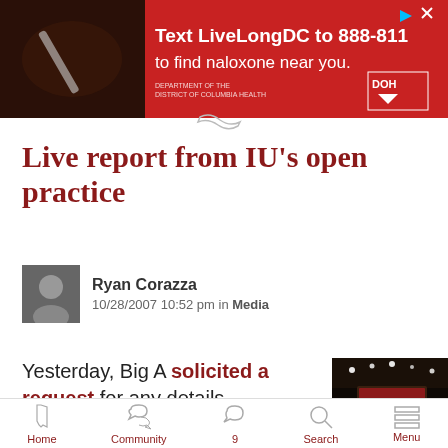[Figure (infographic): Red advertisement banner: 'Text LiveLongDC to 888-811 to find naloxone near you.' with DOH logo and play/close icons. Shows hands holding a nasal spray.]
Live report from IU's open practice
Ryan Corazza
10/28/2007 10:52 pm in Media
Yesterday, Big A solicited a request for any details surrounding Friday's open practice to those in attendance. Ask and you
[Figure (photo): Indoor basketball arena photo showing the Hoosiers scoreboard/jumbotron lit up in a dark arena.]
Home  Community  9  Search  Menu